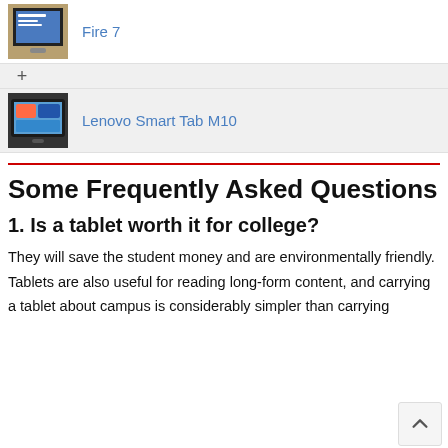[Figure (screenshot): Thumbnail image of Fire 7 tablet product listing]
Fire 7
[Figure (screenshot): Thumbnail image of Lenovo Smart Tab M10 tablet product listing]
Lenovo Smart Tab M10
Some Frequently Asked Questions
1. Is a tablet worth it for college?
They will save the student money and are environmentally friendly. Tablets are also useful for reading long-form content, and carrying a tablet about campus is considerably simpler than carrying